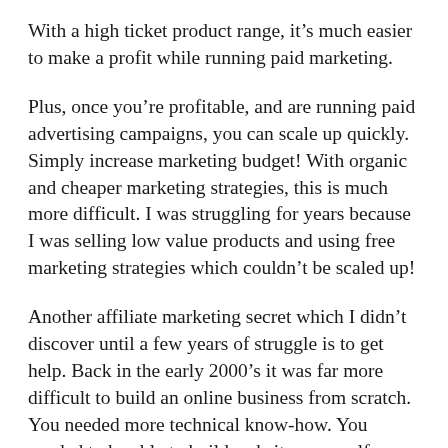With a high ticket product range, it's much easier to make a profit while running paid marketing.
Plus, once you're profitable, and are running paid advertising campaigns, you can scale up quickly. Simply increase marketing budget! With organic and cheaper marketing strategies, this is much more difficult. I was struggling for years because I was selling low value products and using free marketing strategies which couldn't be scaled up!
Another affiliate marketing secret which I didn't discover until a few years of struggle is to get help. Back in the early 2000's it was far more difficult to build an online business from scratch. You needed more technical know-how. You needed to be able to build websites yourself. Today software takes much of the technical wizardry out of building online business. You can press a couple of